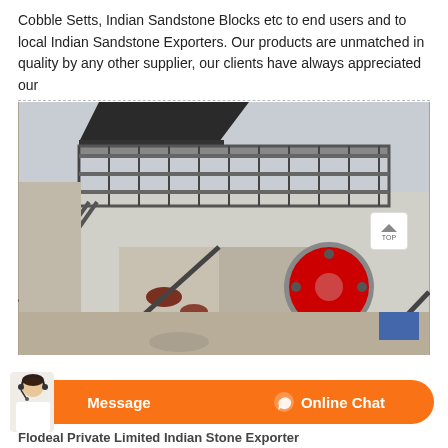Cobble Setts, Indian Sandstone Blocks etc to end users and to local Indian Sandstone Exporters. Our products are unmatched in quality by any other supplier, our clients have always appreciated our
[Figure (photo): Industrial stone crushing machine at an outdoor quarry site, showing machinery with a large red flywheel, elevated metal walkway/platform with railings, concrete structures, and a staircase on the left.]
Flodeal Private Limited Indian Stone Exporter